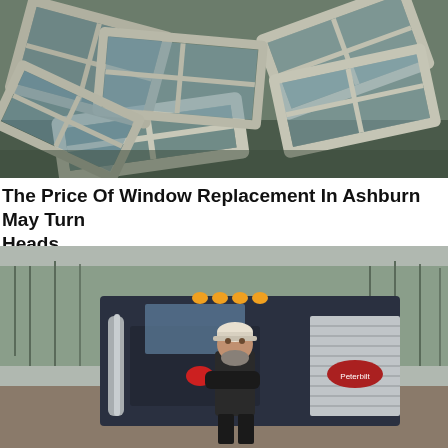[Figure (photo): Pile of old white wooden window frames stacked outdoors on the ground]
The Price Of Window Replacement In Ashburn May Turn Heads
Window Replacement | Search Ads
[Figure (photo): Middle-aged bearded man in a cap standing with arms crossed in front of a large Peterbilt semi-truck outdoors with bare trees in background]